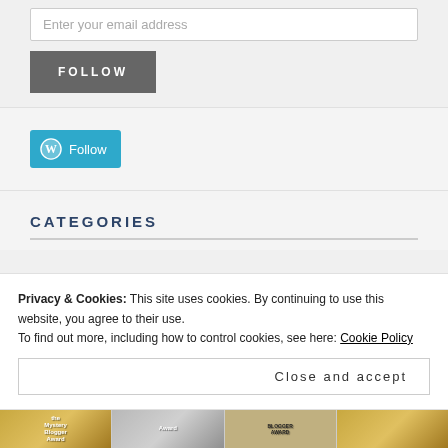Enter your email address
FOLLOW
[Figure (other): WordPress Follow button with WordPress logo icon in teal/blue color]
CATEGORIES
Privacy & Cookies: This site uses cookies. By continuing to use this website, you agree to their use.
To find out more, including how to control cookies, see here: Cookie Policy
Close and accept
[Figure (photo): Bottom strip of award badge images including sunflower/gold themed award badges and a BLOGGER award badge]